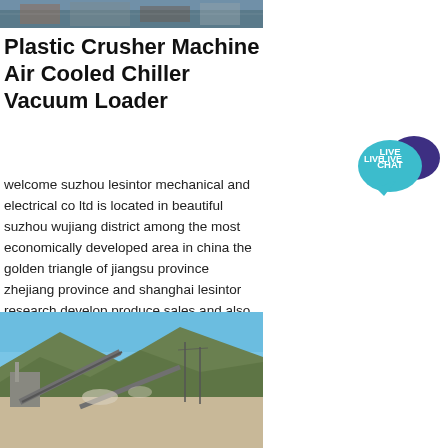[Figure (photo): Top partial photo of industrial/construction machinery site]
Plastic Crusher Machine Air Cooled Chiller Vacuum Loader
welcome suzhou lesintor mechanical and electrical co ltd is located in beautiful suzhou wujiang district among the most economically developed area in china the golden triangle of jiangsu province zhejiang province and shanghai lesintor research develop produce sales and also provide after sales service.
[Figure (infographic): Live Chat button icon — teal speech bubble with LIVE CHAT text and dark purple speech bubble behind]
Get Price
[Figure (photo): Photo of a quarry/crushing plant with conveyor belts, mountains in background, blue sky]